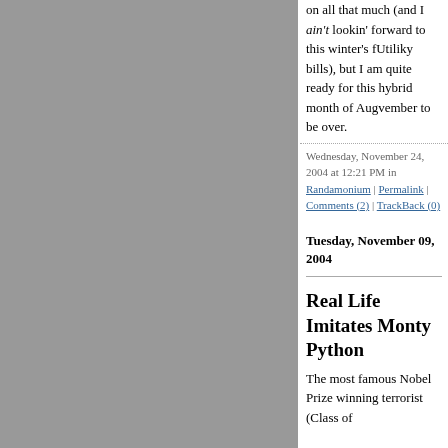[Figure (other): Gray background panel on the left side of the page]
on all that much (and I ain't lookin' forward to this winter's fUtiliky bills), but I am quite ready for this hybrid month of Augvember to be over.
Wednesday, November 24, 2004 at 12:21 PM in Randamonium | Permalink | Comments (2) | TrackBack (0)
Tuesday, November 09, 2004
Real Life Imitates Monty Python
The most famous Nobel Prize winning terrorist (Class of